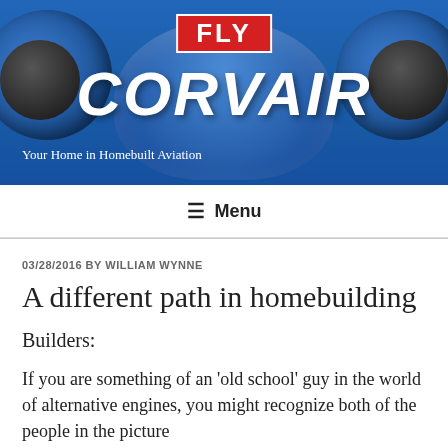[Figure (photo): Blue aircraft fuselage with two engine nacelles. Red 'FLY' badge at top center, large italic 'CORVAIR' text below in white, tagline 'Your Home in Homebuilt Aviation' at bottom left.]
≡ Menu
03/28/2016 BY WILLIAM WYNNE
A different path in homebuilding
Builders:
If you are something of an 'old school' guy in the world of alternative engines, you might recognize both of the people in the picture